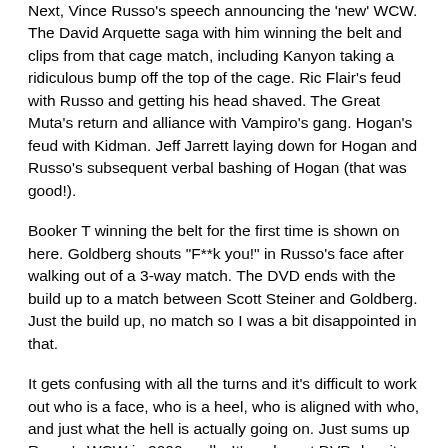Next, Vince Russo's speech announcing the 'new' WCW. The David Arquette saga with him winning the belt and clips from that cage match, including Kanyon taking a ridiculous bump off the top of the cage. Ric Flair's feud with Russo and getting his head shaved. The Great Muta's return and alliance with Vampiro's gang. Hogan's feud with Kidman. Jeff Jarrett laying down for Hogan and Russo's subsequent verbal bashing of Hogan (that was good!).
Booker T winning the belt for the first time is shown on here. Goldberg shouts "F**k you!" in Russo's face after walking out of a 3-way match. The DVD ends with the build up to a match between Scott Steiner and Goldberg. Just the build up, no match so I was a bit disappointed in that.
It gets confusing with all the turns and it's difficult to work out who is a face, who is a heel, who is aligned with who, and just what the hell is actually going on. Just sums up Russo's WCW in 2000 really. It's a decent DVD despite WCW being in a serious decline at the time. I missed a lot